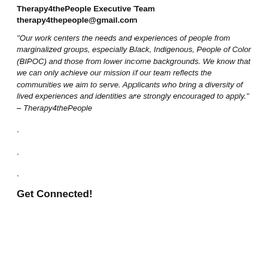Therapy4thePeople Executive Team
therapy4thepeople@gmail.com
"Our work centers the needs and experiences of people from marginalized groups, especially Black, Indigenous, People of Color (BIPOC) and those from lower income backgrounds. We know that we can only achieve our mission if our team reflects the communities we aim to serve. Applicants who bring a diversity of lived experiences and identities are strongly encouraged to apply." – Therapy4thePeople
.
.
.
Get Connected!